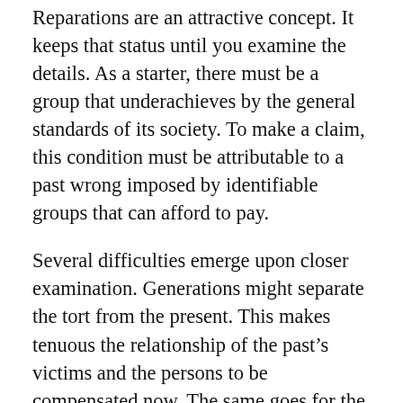Reparations are an attractive concept. It keeps that status until you examine the details. As a starter, there must be a group that underachieves by the general standards of its society. To make a claim, this condition must be attributable to a past wrong imposed by identifiable groups that can afford to pay.
Several difficulties emerge upon closer examination. Generations might separate the tort from the present. This makes tenuous the relationship of the past's victims and the persons to be compensated now. The same goes for the nexus between history's villains and those credited to be their inheritors. What share of the reparations shall burden a person that might have immigrated, as has this writer, in the fifties? How is the benefit of an individual with a victim on the family tree to be calculated if a subsequent ancestor intermarried with the “oppressors”? Is race, or whatever is declared to be one, going to be the sole standard? The rising number of